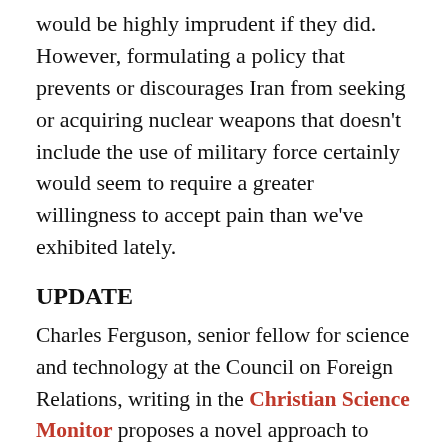would be highly imprudent if they did. However, formulating a policy that prevents or discourages Iran from seeking or acquiring nuclear weapons that doesn't include the use of military force certainly would seem to require a greater willingness to accept pain than we've exhibited lately.
UPDATE
Charles Ferguson, senior fellow for science and technology at the Council on Foreign Relations, writing in the Christian Science Monitor proposes a novel approach to breaking the logjam of negotiations with Iran:
A potential trust-building deal would bind the US and other nuclear energy states to Iran as clients under the condition that Iran accepts more rigorous safeguards on its nuclear